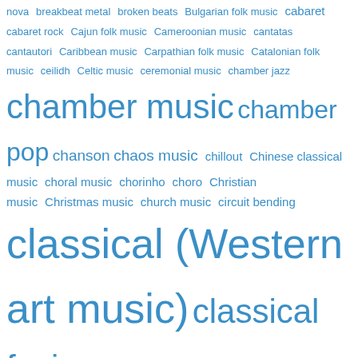[Figure (other): Tag cloud of music genres in blue text, with font size indicating frequency/popularity. Terms range from small (rare) to very large (common). Genres include: nova, breakbeat metal, broken beats, Bulgarian folk music, cabaret, cabaret rock, Cajun folk music, Cameroonian music, cantatas, cantautori, Caribbean music, Carpathian folk music, Catalonian folk music, ceilidh, Celtic music, ceremonial music, chamber jazz, chamber music, chamber pop, chanson, chaos music, chillout, Chinese classical music, choral music, chorinho, choro, Christian music, Christmas music, church music, circuit bending, classical (Western art music), classical fusion, Classical music, classical songs, club music, comedy music, comic books, communiques, compilation reviews, cool jazz, Cornish music, country-and-western, country reggae, cover versions, cowpunk, Croatian folk music, cross-cultural music, cross-disciplinary pop, crossover, crowdfunding campaigns, Cuban jazz, Cuban music, cumbia, cyberfunk, dance-punk, dancehall, dance music, dance performances, dance pop]